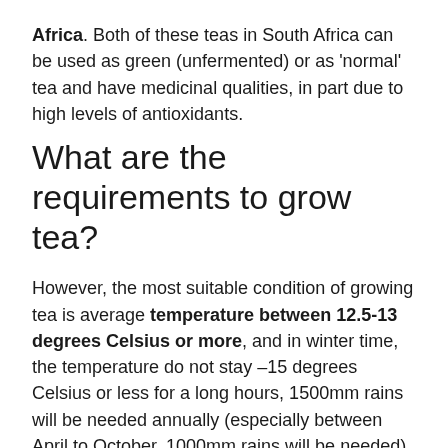Africa. Both of these teas in South Africa can be used as green (unfermented) or as 'normal' tea and have medicinal qualities, in part due to high levels of antioxidants.
What are the requirements to grow tea?
However, the most suitable condition of growing tea is average temperature between 12.5-13 degrees Celsius or more, and in winter time, the temperature do not stay –15 degrees Celsius or less for a long hours, 1500mm rains will be needed annually (especially between April to October, 1000mm rains will be needed), Ph
...